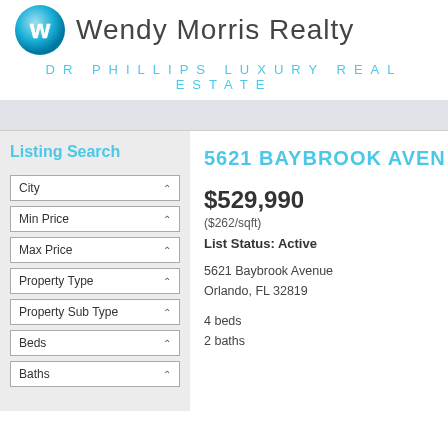Wendy Morris Realty
DR PHILLIPS LUXURY REAL ESTATE
Listing Search
5621 BAYBROOK AVENUE
$529,990
($262/sqft)
List Status: Active
5621 Baybrook Avenue
Orlando, FL 32819
4 beds
2 baths